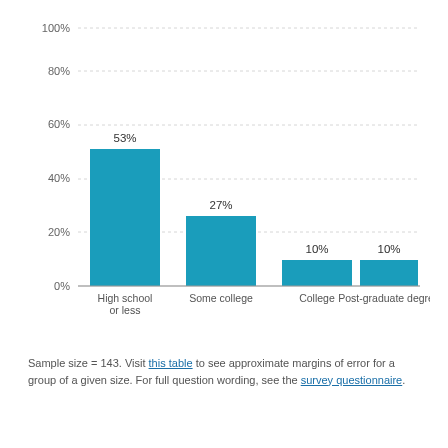[Figure (bar-chart): ]
Sample size = 143. Visit this table to see approximate margins of error for a group of a given size. For full question wording, see the survey questionnaire.